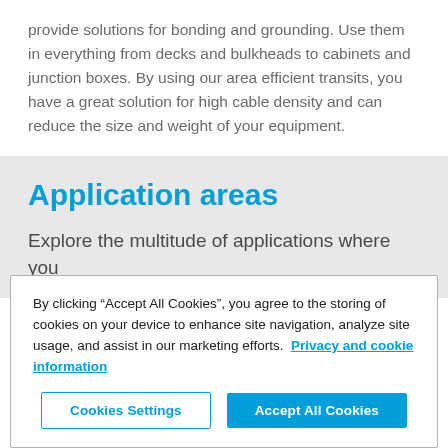provide solutions for bonding and grounding. Use them in everything from decks and bulkheads to cabinets and junction boxes. By using our area efficient transits, you have a great solution for high cable density and can reduce the size and weight of your equipment.
Application areas
Explore the multitude of applications where you
By clicking “Accept All Cookies”, you agree to the storing of cookies on your device to enhance site navigation, analyze site usage, and assist in our marketing efforts. Privacy and cookie information